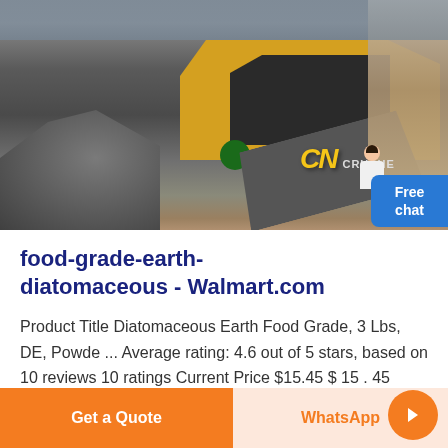[Figure (photo): Industrial mining/crushing machinery at a quarry site with large rocks, conveyor belts, and yellow equipment. CM CRUSHER branding visible on the machinery.]
food-grade-earth-diatomaceous - Walmart.com
Product Title Diatomaceous Earth Food Grade, 3 Lbs, DE, Powde ... Average rating: 4.6 out of 5 stars, based on 10 reviews 10 ratings Current Price $15.45 $ 15 . 45